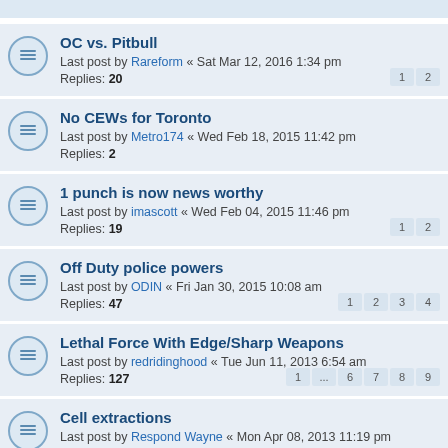OC vs. Pitbull — Last post by Rareform « Sat Mar 12, 2016 1:34 pm — Replies: 20 — Pages: 1 2
No CEWs for Toronto — Last post by Metro174 « Wed Feb 18, 2015 11:42 pm — Replies: 2
1 punch is now news worthy — Last post by imascott « Wed Feb 04, 2015 11:46 pm — Replies: 19 — Pages: 1 2
Off Duty police powers — Last post by ODIN « Fri Jan 30, 2015 10:08 am — Replies: 47 — Pages: 1 2 3 4
Lethal Force With Edge/Sharp Weapons — Last post by redridinghood « Tue Jun 11, 2013 6:54 am — Replies: 127 — Pages: 1 ... 6 7 8 9
Cell extractions — Last post by Respond Wayne « Mon Apr 08, 2013 11:19 pm